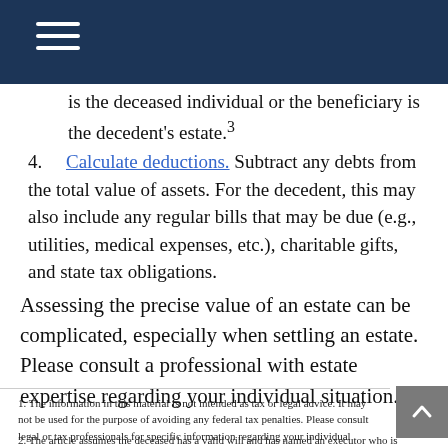is the deceased individual or the beneficiary is the decedent's estate.³
4. Calculate deductions. Subtract any debts from the total value of assets. For the decedent, this may also include any regular bills that may be due (e.g., utilities, medical expenses, etc.), charitable gifts, and state tax obligations.
Assessing the precise value of an estate can be complicated, especially when settling an estate. Please consult a professional with estate expertise regarding your individual situation.
1. The information in this material is not intended as tax or legal advice. It may not be used for the purpose of avoiding any federal tax penalties. Please consult legal or tax professionals for specific information regarding your individual situation.
2. The article assumes the deceased has a valid will and has named an executor who is responsible for carrying out the directions of the will. If a